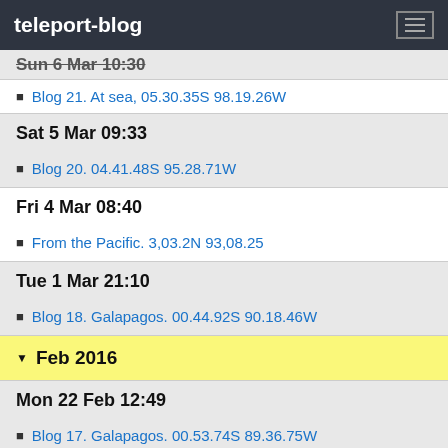teleport-blog
Blog 21. At sea, 05.30.35S 98.19.26W
Sat 5 Mar 09:33
Blog 20. 04.41.48S 95.28.71W
Fri 4 Mar 08:40
From the Pacific. 3,03.2N 93,08.25
Tue 1 Mar 21:10
Blog 18. Galapagos. 00.44.92S 90.18.46W
Feb 2016
Mon 22 Feb 12:49
Blog 17. Galapagos. 00.53.74S 89.36.75W
Blog 18. Galapagos. Sunday, 21/02/16. 00.53.74S 89.36.75W
Mon 15 Feb 23:33
Blog 16. Notes on Leg 3 to the Galapagos. 01.17.68N 86.37.50W
Sun 14 Feb 00:55
Blog 14. Heading for the Galapagos. 05.07.71N 81.59.58W